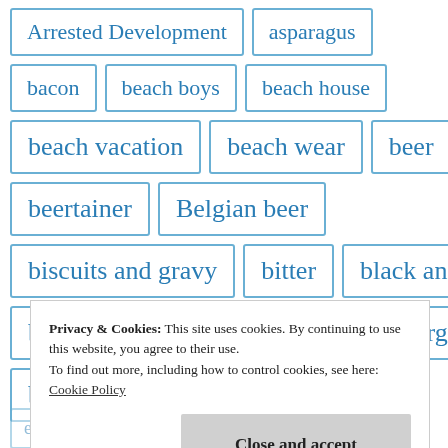Arrested Development
asparagus
bacon
beach boys
beach house
beach vacation
beach wear
beer
beertainer
Belgian beer
biscuits and gravy
bitter
black and tan
blank slate
Blazing Saddles
Borgs
brand loyalty
chocolate stout
Privacy & Cookies: This site uses cookies. By continuing to use this website, you agree to their use.
To find out more, including how to control cookies, see here: Cookie Policy
enderby
existential crisis
fables by barrie